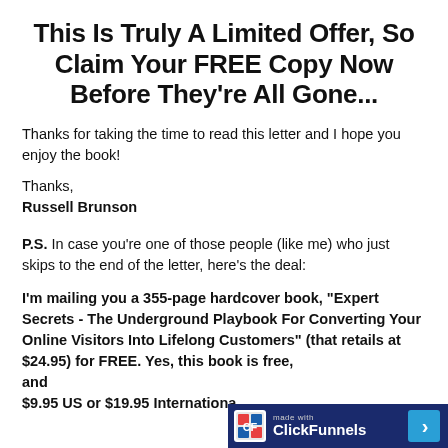This Is Truly A Limited Offer, So Claim Your FREE Copy Now Before They're All Gone...
Thanks for taking the time to read this letter and I hope you enjoy the book!
Thanks,
Russell Brunson
P.S. In case you're one of those people (like me) who just skips to the end of the letter, here's the deal:
I'm mailing you a 355-page hardcover book, "Expert Secrets - The Underground Playbook For Converting Your Online Visitors Into Lifelong Customers" (that retails at $24.95) for FREE. Yes, this book is free, and $9.95 US or $19.95 Internationa
[Figure (logo): ClickFunnels logo badge in dark blue bar at bottom right with arrow button]